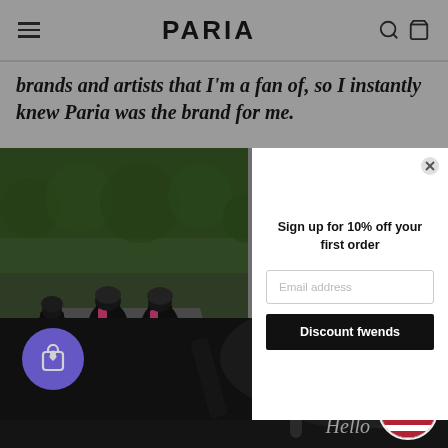PARIA
brands and artists that I'm a fan of, so I instantly knew Paria was the brand for me.
[Figure (photo): Group of cyclists wearing black and pink jerseys riding road bikes, viewed from behind on a road surrounded by green hedges.]
Sign up for 10% off your first order
Email address
Discount fwends
[Figure (photo): Dark bottom section showing cycling equipment, with a purple shopping bag with heart icon button on the left and a US flag circle button on the right, with 'Hello' text.]